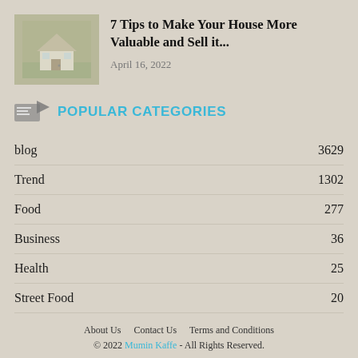[Figure (photo): Small model house on a grassy background, muted green-gray tones]
7 Tips to Make Your House More Valuable and Sell it...
April 16, 2022
POPULAR CATEGORIES
blog  3629
Trend  1302
Food  277
Business  36
Health  25
Street Food  20
About Us   Contact Us   Terms and Conditions
© 2022 Mumin Kaffe - All Rights Reserved.